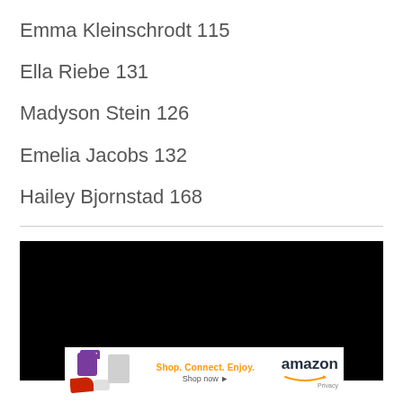Emma Kleinschrodt  115
Ella Riebe  131
Madyson Stein  126
Emelia Jacobs 132
Hailey Bjornstad 168
[Figure (other): Black video player area with an Amazon advertisement banner at the bottom showing products, 'Shop. Connect. Enjoy.' tagline, 'Shop now' link, Amazon logo and smile, and Privacy text]